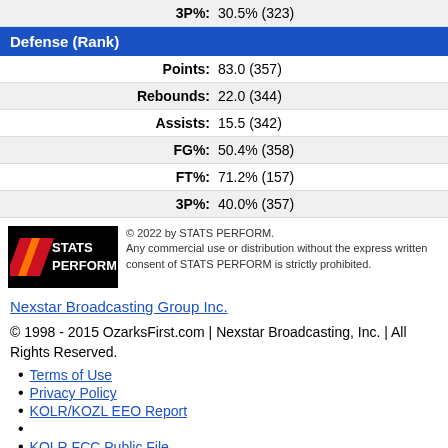| Stat | Value |
| --- | --- |
| 3P%: | 30.5% (323) |
Defense (Rank)
| Stat | Value |
| --- | --- |
| Points: | 83.0 (357) |
| Rebounds: | 22.0 (344) |
| Assists: | 15.5 (342) |
| FG%: | 50.4% (358) |
| FT%: | 71.2% (157) |
| 3P%: | 40.0% (357) |
[Figure (logo): STATS PERFORM logo with red and orange diagonal stripes on black background]
© 2022 by STATS PERFORM. Any commercial use or distribution without the express written consent of STATS PERFORM is strictly prohibited.
Nexstar Broadcasting Group Inc.
© 1998 - 2015 OzarksFirst.com | Nexstar Broadcasting, Inc. | All Rights Reserved.
Terms of Use
Privacy Policy
KOLR/KOZL EEO Report
KOLR FCC Public File